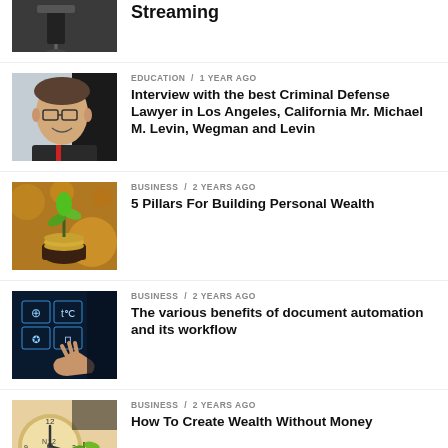[Figure (photo): Partial top article with dark image (water/faucet), title partially cut off showing 'Streaming']
Streaming
[Figure (photo): Photo of a man in suit with glasses smiling, appears to be a professional headshot]
EDUCATION / 1 year ago
Interview with the best Criminal Defense Lawyer in Los Angeles, California Mr. Michael M. Levin, Wegman and Levin
[Figure (photo): Photo of a small plant growing from coin/money in soil, representing personal wealth]
BUSINESS / 2 years ago
5 Pillars For Building Personal Wealth
[Figure (photo): Photo of a hand touching digital icons/holographic interface representing document automation]
BUSINESS / 2 years ago
The various benefits of document automation and its workflow
[Figure (photo): Photo of a clock, coins and plants representing wealth creation]
BUSINESS / 2 years ago
How To Create Wealth Without Money
[Figure (photo): Partial bottom article image, cut off at bottom]